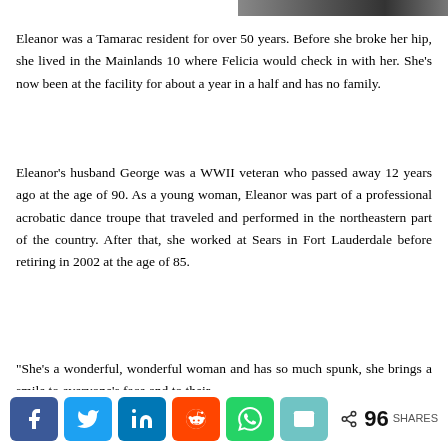[Figure (photo): Partial photo strip visible at top right of page, appears to be a person/people photo, cropped]
Eleanor was a Tamarac resident for over 50 years. Before she broke her hip, she lived in the Mainlands 10 where Felicia would check in with her. She’s now been at the facility for about a year in a half and has no family.
Eleanor’s husband George was a WWII veteran who passed away 12 years ago at the age of 90. As a young woman, Eleanor was part of a professional acrobatic dance troupe that traveled and performed in the northeastern part of the country. After that, she worked at Sears in Fort Lauderdale before retiring in 2002 at the age of 85.
“She’s a wonderful, wonderful woman and has so much spunk, she brings a smile to everyone’s face and to their
[Figure (infographic): Social sharing bar with buttons for Facebook, Twitter, LinkedIn, Reddit, WhatsApp, Email, and a share count showing 96 SHARES]